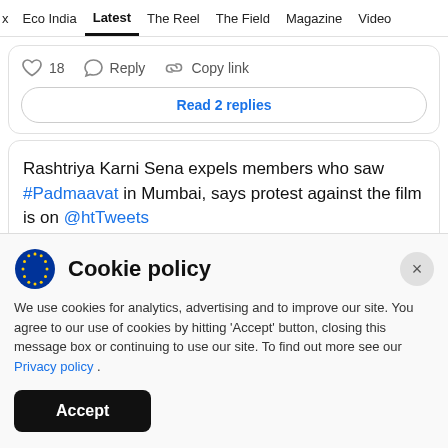x  Eco India  Latest  The Reel  The Field  Magazine  Video
18  Reply  Copy link
Read 2 replies
Rashtriya Karni Sena expels members who saw #Padmaavat in Mumbai, says protest against the film is on @htTweets
Cookie policy
We use cookies for analytics, advertising and to improve our site. You agree to our use of cookies by hitting 'Accept' button, closing this message box or continuing to use our site. To find out more see our Privacy policy .
Accept